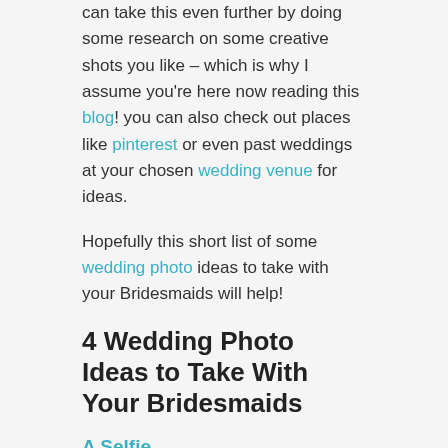can take this even further by doing some research on some creative shots you like – which is why I assume you're here now reading this blog! you can also check out places like pinterest or even past weddings at your chosen wedding venue for ideas.
Hopefully this short list of some wedding photo ideas to take with your Bridesmaids will help!
4 Wedding Photo Ideas to Take With Your Bridesmaids
A Selfie
Now, you've probably taken thousands of selfies with your best friends until many of them may feel rather forgettable. However, this selfie may be the most special of all the selfies you've ever taken. One day, you'll look back at this photo quite fondly, as it'll represent a special and unstaged moment that you shared with your